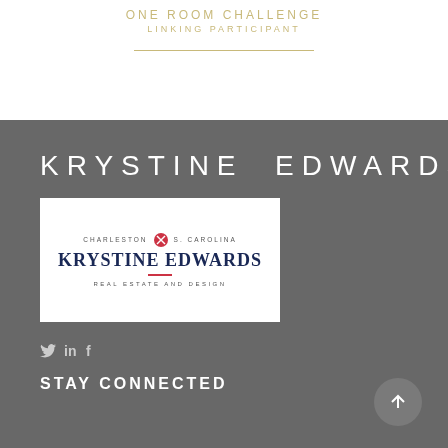ONE ROOM CHALLENGE
LINKING PARTICIPANT
KRYSTINE EDWARDS
[Figure (logo): Krystine Edwards Real Estate and Design logo with Charleston, S. Carolina text and red diamond icon]
Social media icons: Twitter, LinkedIn, Facebook
STAY CONNECTED